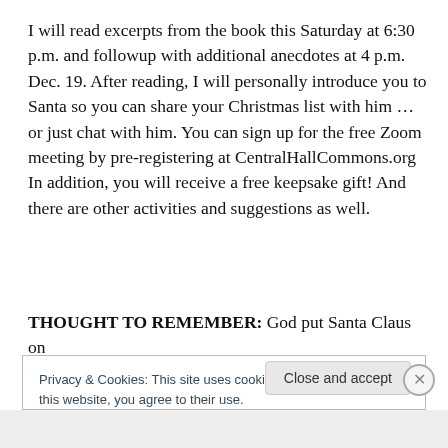I will read excerpts from the book this Saturday at 6:30 p.m. and followup with additional anecdotes at 4 p.m. Dec. 19. After reading, I will personally introduce you to Santa so you can share your Christmas list with him … or just chat with him. You can sign up for the free Zoom meeting by pre-registering at CentralHallCommons.org In addition, you will receive a free keepsake gift! And there are other activities and suggestions as well.
THOUGHT TO REMEMBER: God put Santa Claus on
Privacy & Cookies: This site uses cookies. By continuing to use this website, you agree to their use.
To find out more, including how to control cookies, see here: Cookie Policy